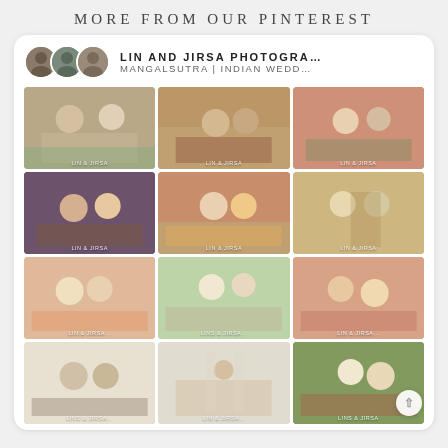MORE FROM OUR PINTEREST
LIN AND JIRSA PHOTOGRA…
MANGALSUTRA | INDIAN WEDD…
[Figure (photo): Grid of 12 Indian wedding ceremony photographs showing couples exchanging garlands and performing rituals, from Lin and Jirsa Photography Pinterest board.]